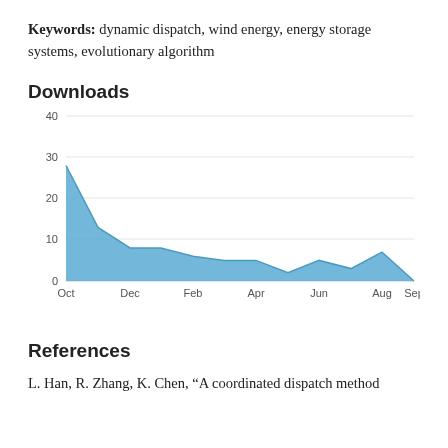Keywords: dynamic dispatch, wind energy, energy storage systems, evolutionary algorithm
Downloads
[Figure (area-chart): Downloads]
References
L. Han, R. Zhang, K. Chen, “A coordinated dispatch method